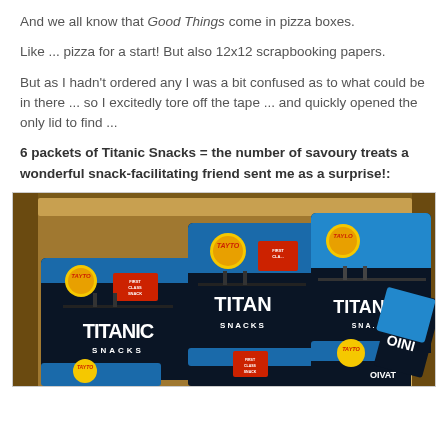And we all know that Good Things come in pizza boxes.
Like ... pizza for a start! But also 12x12 scrapbooking papers.
But as I hadn't ordered any I was a bit confused as to what could be in there ... so I excitedly tore off the tape ... and quickly opened the only lid to find ...
6 packets of Titanic Snacks = the number of savoury treats a wonderful snack-facilitating friend sent me as a surprise!:
[Figure (photo): A cardboard box open from the top containing multiple packets of Tayto Titanic Snacks, showing the blue and dark packaging with the Titanic ship silhouette and Tayto logo visible on multiple packets.]